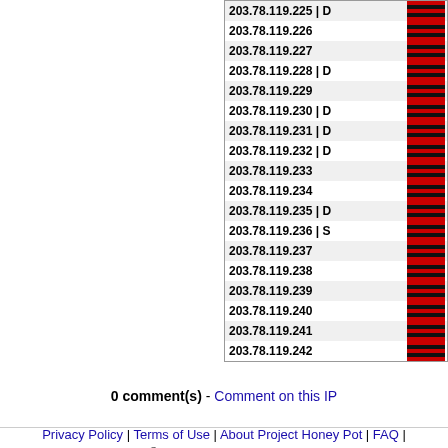| IP Address | Flag |
| --- | --- |
| 203.78.119.225 | D | flag |
| 203.78.119.226 | flag |
| 203.78.119.227 | flag |
| 203.78.119.228 | D | flag |
| 203.78.119.229 | flag |
| 203.78.119.230 | D | flag |
| 203.78.119.231 | D | flag |
| 203.78.119.232 | D | flag |
| 203.78.119.233 | flag |
| 203.78.119.234 | flag |
| 203.78.119.235 | D | flag |
| 203.78.119.236 | S | flag |
| 203.78.119.237 | flag |
| 203.78.119.238 | flag |
| 203.78.119.239 | flag |
| 203.78.119.240 | flag |
| 203.78.119.241 | flag |
| 203.78.119.242 | flag |
0 comment(s) - Comment on this IP
Privacy Policy | Terms of Use | About Project Honey Pot | FAQ | Copyright © 2004–22, Unspam Technologies, Inc. Advertisements displayed on this page are not necessarily endorsed by Project Honey Pot